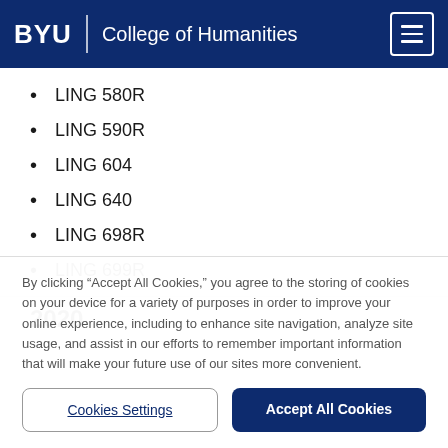BYU | College of Humanities
LING 580R
LING 590R
LING 604
LING 640
LING 698R
LING 699R
2020
By clicking “Accept All Cookies,” you agree to the storing of cookies on your device for a variety of purposes in order to improve your online experience, including to enhance site navigation, analyze site usage, and assist in our efforts to remember important information that will make your future use of our sites more convenient.
Cookies Settings
Accept All Cookies